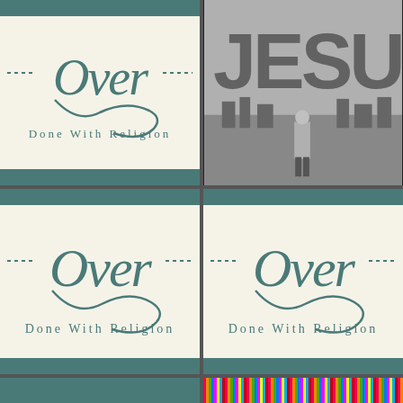[Figure (logo): Over - Done With Religion logo on cream background with teal horizontal bars top and bottom. Decorative script 'Over' text with swirls, subtitle 'Done With Religion' in spaced serif font.]
[Figure (photo): Black and white photograph of a person standing in front of large graffiti letters spelling 'JESUS' on a wall.]
[Figure (logo): Over - Done With Religion logo on cream background with teal horizontal bars top and bottom (larger version).]
[Figure (logo): Over - Done With Religion logo on cream background with teal horizontal bars top and bottom (larger version, right column).]
[Figure (other): Bottom left: solid teal/dark cyan bar strip.]
[Figure (other): Bottom right: multicolored vertical stripe pattern bar strip.]